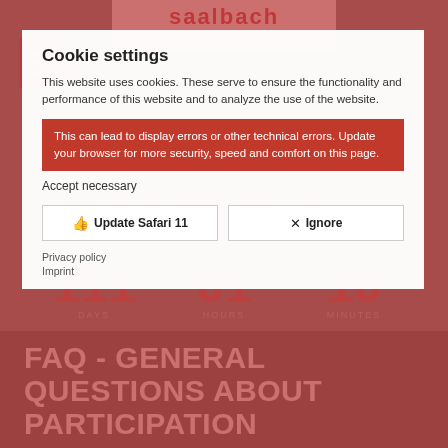[Figure (screenshot): Saalbach Hinterglemm-Leogang-Fieberbrunn website screenshot showing a countdown timer and event heading '25. HERVIS MOUNTAIN YOUR BROWSER IS OUTDATED' overlaid with a cookie consent dialog and browser outdated warning. Background shows countdown numbers 111, 01, 10 DAYS HOURS MINUTES and 08. Bottom shows FAQ - GENERAL QUESTIONS ABOUT PARTICIPATION heading.]
Cookie settings
This website uses cookies. These serve to ensure the functionality and performance of this website and to analyze the use of the website.
This can lead to display errors or other technical errors. Update your browser for more security, speed and comfort on this page.
Accept necessary
Update Safari 11
Ignore
Privacy policy
Imprint
FAQ - GENERAL QUESTIONS ABOUT PARTICIPATION